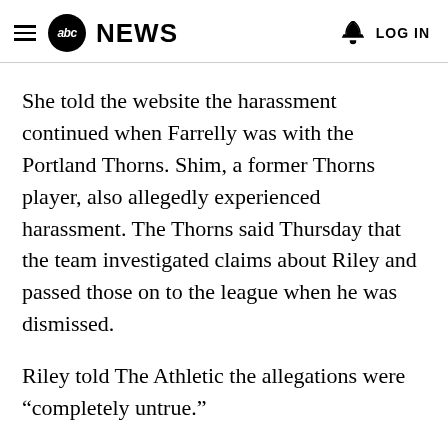abc NEWS  LOG IN
She told the website the harassment continued when Farrelly was with the Portland Thorns. Shim, a former Thorns player, also allegedly experienced harassment. The Thorns said Thursday that the team investigated claims about Riley and passed those on to the league when he was dismissed.
Riley told The Athletic the allegations were “completely untrue.”
Outcry over the allegations rocked the league and forced this weekend’s games to be called